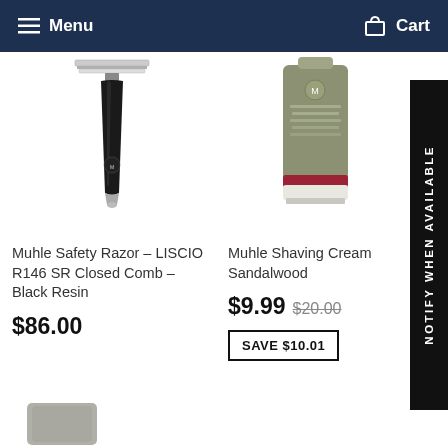Menu  Cart
[Figure (photo): Muhle safety razor with black resin handle, LISCIO R146 SR Closed Comb model]
Muhle Safety Razor – LISCIO R146 SR Closed Comb – Black Resin
$86.00
[Figure (photo): Muhle Shaving Cream tube in olive/grey color with red and white band, Sandalwood variant]
Muhle Shaving Cream Sandalwood
$9.99  $20.00
SAVE $10.01
[Figure (photo): Partial view of another product at bottom of page]